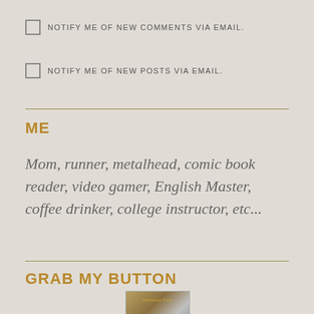NOTIFY ME OF NEW COMMENTS VIA EMAIL.
NOTIFY ME OF NEW POSTS VIA EMAIL.
ME
Mom, runner, metalhead, comic book reader, video gamer, English Master, coffee drinker, college instructor, etc...
GRAB MY BUTTON
[Figure (photo): Small thumbnail image showing a book or similar item with decorative golden text overlay]